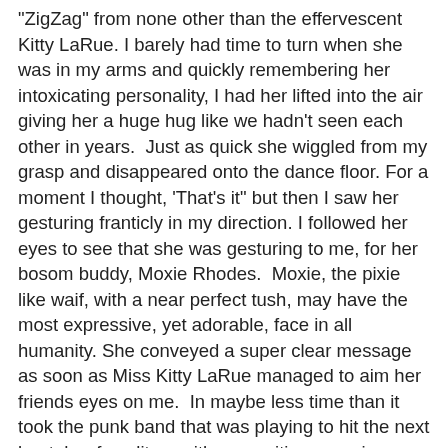"ZigZag" from none other than the effervescent Kitty LaRue. I barely had time to turn when she was in my arms and quickly remembering her intoxicating personality, I had her lifted into the air giving her a huge hug like we hadn't seen each other in years.  Just as quick she wiggled from my grasp and disappeared onto the dance floor. For a moment I thought, 'That's it" but then I saw her gesturing franticly in my direction. I followed her eyes to see that she was gesturing to me, for her bosom buddy, Moxie Rhodes.  Moxie, the pixie like waif, with a near perfect tush, may have the most expressive, yet adorable, face in all humanity. She conveyed a super clear message as soon as Miss Kitty LaRue managed to aim her friends eyes on me.  In maybe less time than it took the punk band that was playing to hit the next beat, her face lit up with recognition, surprise, happiness, and a little gratitude. All of it aimed at me. I was flattered. Now both of them came scurrying over trying to tell my jet turbine weary ears, things I couldn't hear.  I have to admit, I was soaking it up. Two smoking hot peach pies were treating me like a celebrity, and in front of all the super cool , coolios hanging around, seemingly afraid to show happiness, for fear that it would contradict their cool factor.  blah! . My over